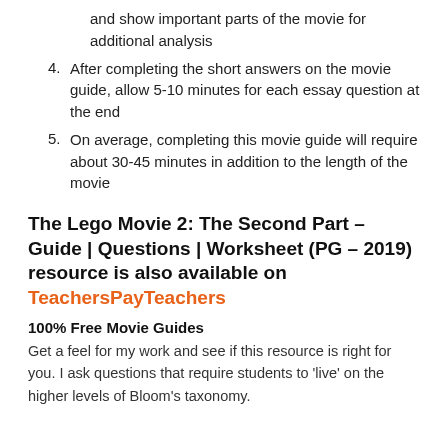and show important parts of the movie for additional analysis
4. After completing the short answers on the movie guide, allow 5-10 minutes for each essay question at the end
5. On average, completing this movie guide will require about 30-45 minutes in addition to the length of the movie
The Lego Movie 2: The Second Part – Guide | Questions | Worksheet (PG – 2019) resource is also available on TeachersPayTeachers
100% Free Movie Guides
Get a feel for my work and see if this resource is right for you. I ask questions that require students to 'live' on the higher levels of Bloom's taxonomy.